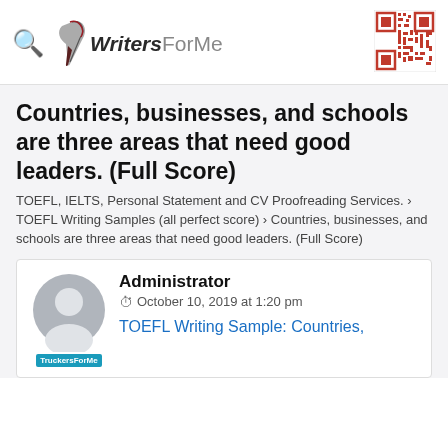WritersForMe
Countries, businesses, and schools are three areas that need good leaders. (Full Score)
TOEFL, IELTS, Personal Statement and CV Proofreading Services. › TOEFL Writing Samples (all perfect score) › Countries, businesses, and schools are three areas that need good leaders. (Full Score)
Administrator
October 10, 2019 at 1:20 pm
TOEFL Writing Sample: Countries,